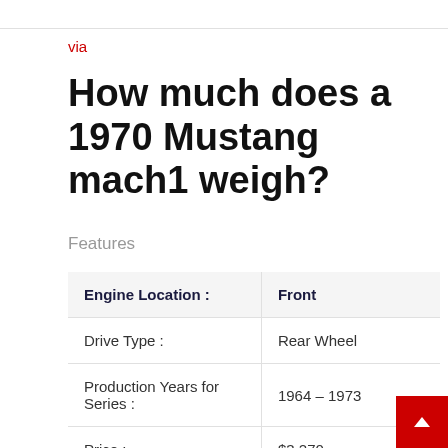via
How much does a 1970 Mustang mach1 weigh?
Features
| Engine Location : | Front |
| --- | --- |
| Drive Type : | Rear Wheel |
| Production Years for Series : | 1964 – 1973 |
| Price : | $3,270 |